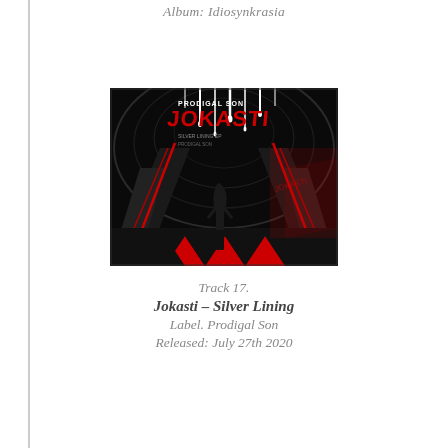Album: Idiosynkrasia
[Figure (illustration): Album cover art for Jokasti - Silver Lining (Prodigal Son label). Dark graphic novel style illustration showing a tunnel/corridor scene in black, white and red with a female figure standing in the foreground. Text reads PRODIGAL SON JOKASTI at the top in red graffiti-style lettering.]
Track 17.
Jokasti – Silver Lining
Label. Prodigal Son
Released: July 27th 2020